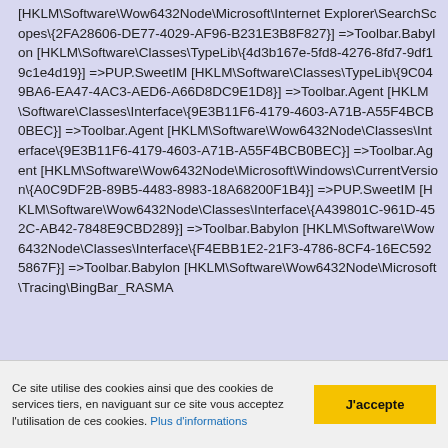[HKLM\Software\Wow6432Node\Microsoft\Internet Explorer\SearchScopes\{2FA28606-DE77-4029-AF96-B231E3B8F827}] =>Toolbar.Babylon [HKLM\Software\Classes\TypeLib\{4d3b167e-5fd8-4276-8fd7-9df19c1e4d19}] =>PUP.SweetIM [HKLM\Software\Classes\TypeLib\{9C049BA6-EA47-4AC3-AED6-A66D8DC9E1D8}] =>Toolbar.Agent [HKLM\Software\Classes\Interface\{9E3B11F6-4179-4603-A71B-A55F4BCB0BEC}] =>Toolbar.Agent [HKLM\Software\Wow6432Node\Classes\Interface\{9E3B11F6-4179-4603-A71B-A55F4BCB0BEC}] =>Toolbar.Agent [HKLM\Software\Wow6432Node\Microsoft\Windows\CurrentVersion\{A0C9DF2B-89B5-4483-8983-18A68200F1B4}] =>PUP.SweetIM [HKLM\Software\Wow6432Node\Classes\Interface\{A439801C-961D-452C-AB42-7848E9CBD289}] =>Toolbar.Babylon [HKLM\Software\Wow6432Node\Classes\Interface\{F4EBB1E2-21F3-4786-8CF4-16EC5925867F}] =>Toolbar.Babylon [HKLM\Software\Wow6432Node\Microsoft\Tracing\BingBar_RASMA
Ce site utilise des cookies ainsi que des cookies de services tiers, en naviguant sur ce site vous acceptez l'utilisation de ces cookies. Plus d'informations